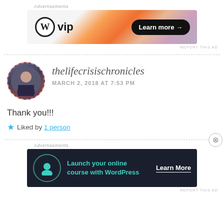Advertisements
[Figure (screenshot): WordPress VIP advertisement banner with orange gradient background and 'Learn more →' button]
REPORT THIS AD
thelifecrisischronicles
MARCH 2, 2018 AT 7:53 PM
Thank you!!!
★ Liked by 1 person
Advertisements
[Figure (screenshot): Dark advertisement banner: Launch your online course with WordPress, Learn More button]
REPORT THIS AD